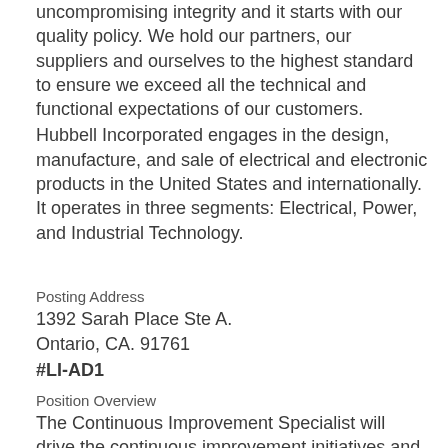uncompromising integrity and it starts with our quality policy. We hold our partners, our suppliers and ourselves to the highest standard to ensure we exceed all the technical and functional expectations of our customers.
Hubbell Incorporated engages in the design, manufacture, and sale of electrical and electronic products in the United States and internationally. It operates in three segments: Electrical, Power, and Industrial Technology.
Posting Address
1392 Sarah Place Ste A.
Ontario, CA. 91761
#LI-AD1
Position Overview
The Continuous Improvement Specialist will drive the continuous improvement initiatives and